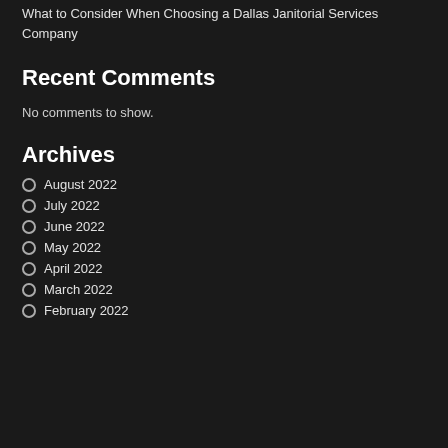What to Consider When Choosing a Dallas Janitorial Services Company
Recent Comments
No comments to show.
Archives
August 2022
July 2022
June 2022
May 2022
April 2022
March 2022
February 2022